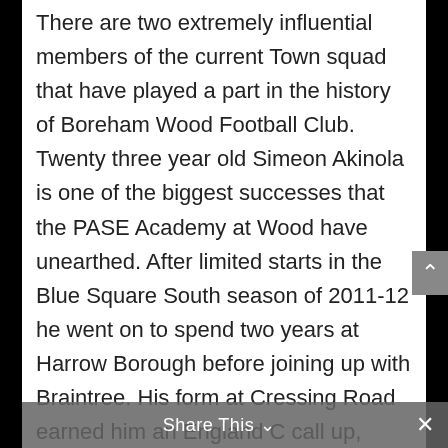There are two extremely influential members of the current Town squad that have played a part in the history of Boreham Wood Football Club. Twenty three year old Simeon Akinola is one of the biggest successes that the PASE Academy at Wood have unearthed. After limited starts in the Blue Square South season of 2011-12 he went on to spend two years at Harrow Borough before joining up with Braintree. His form at Cressing Road earned him an England C call up, adding 4 goals this season to the 7 he netted last campaign.
Another 23 year old now in his 3rd season with Town is Chez Isaac. The former Watford Academy player was hugely influential in th